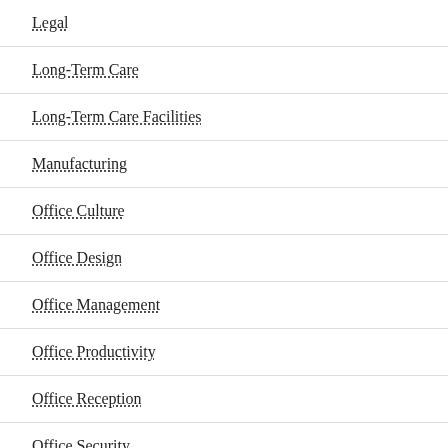Legal
Long-Term Care
Long-Term Care Facilities
Manufacturing
Office Culture
Office Design
Office Management
Office Productivity
Office Reception
Office Security